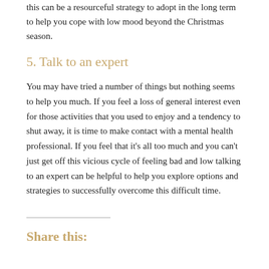this can be a resourceful strategy to adopt in the long term to help you cope with low mood beyond the Christmas season.
5. Talk to an expert
You may have tried a number of things but nothing seems to help you much. If you feel a loss of general interest even for those activities that you used to enjoy and a tendency to shut away, it is time to make contact with a mental health professional. If you feel that it's all too much and you can't just get off this vicious cycle of feeling bad and low talking to an expert can be helpful to help you explore options and strategies to successfully overcome this difficult time.
Share this: